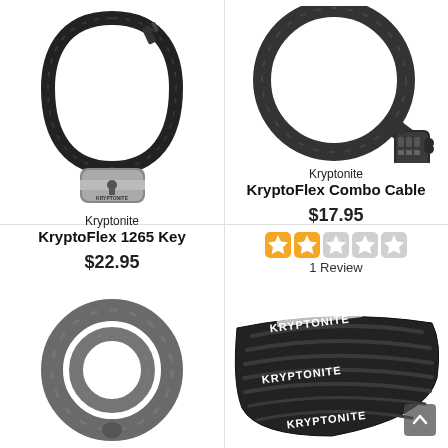[Figure (photo): Kryptonite KryptoFlex 1265 Key cable lock with U-shaped cable and silver lock body]
Kryptonite
KryptoFlex 1265 Key
$22.95
[Figure (photo): Kryptonite KryptoFlex Combo Cable lock coiled in a circle with combination dial lock body]
Kryptonite
KryptoFlex Combo Cable
$17.95
[Figure (other): 2-star rating with 5 star slots, 2 orange filled stars and 3 grey empty stars]
1 Review
[Figure (photo): Grey cable lock coiled in a circle, bottom-left product thumbnail]
[Figure (photo): Black chain lock with white Kryptonite branding on sleeve, bottom-right product thumbnail]